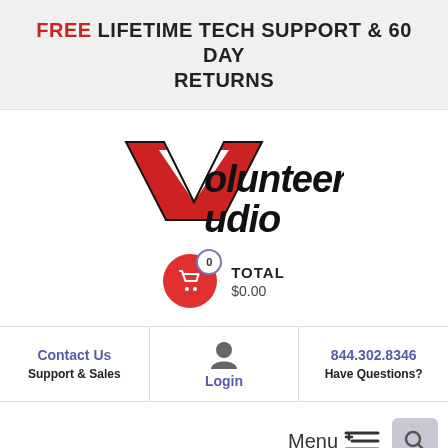FREE LIFETIME TECH SUPPORT & 60 DAY RETURNS
[Figure (logo): Volunteer Audio logo with stylized red and black V/A letters]
TOTAL $0.00
Contact Us | Support & Sales
Login
844.302.8346 | Have Questions?
Menu
Alpine Home